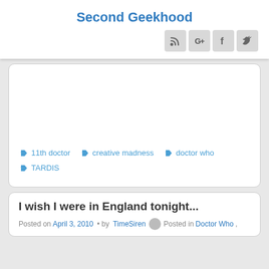Second Geekhood
[Figure (infographic): Social media icon buttons: RSS feed, Google+, Facebook, Twitter]
11th doctor   creative madness   doctor who   TARDIS
I wish I were in England tonight...
Posted on April 3, 2010 • by TimeSiren Posted in Doctor Who,